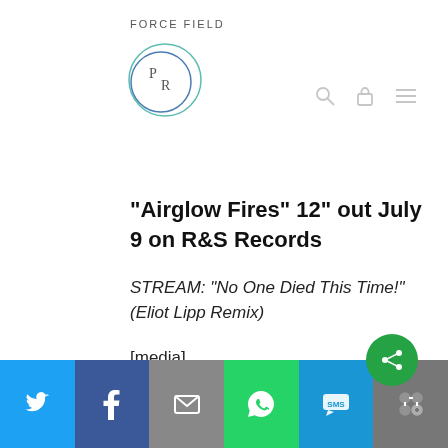FORCE FIELD PR (logo with circle icon)
“Airglow Fires” 12” out July 9 on R&S Records
STREAM: “No One Died This Time!” (Eliot Lipp Remix)
[media]
Social share bar: Twitter, Facebook, Email, WhatsApp, SMS, More